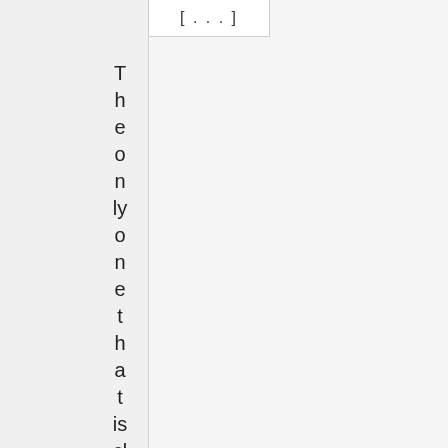[...]
The only one that is clean and